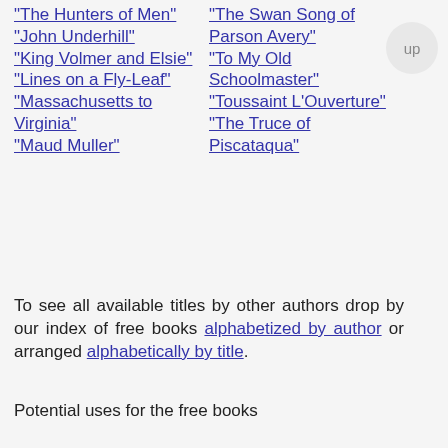"The Hunters of Men"
"John Underhill"
"King Volmer and Elsie"
"Lines on a Fly-Leaf"
"Massachusetts to Virginia"
"Maud Muller"
"The Swan Song of Parson Avery"
"To My Old Schoolmaster"
"Toussaint L'Ouverture"
"The Truce of Piscataqua"
To see all available titles by other authors drop by our index of free books alphabetized by author or arranged alphabetically by title.
Potential uses for the free books